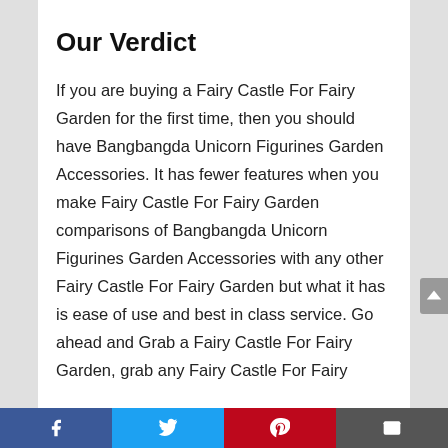Our Verdict
If you are buying a Fairy Castle For Fairy Garden for the first time, then you should have Bangbangda Unicorn Figurines Garden Accessories. It has fewer features when you make Fairy Castle For Fairy Garden comparisons of Bangbangda Unicorn Figurines Garden Accessories with any other Fairy Castle For Fairy Garden but what it has is ease of use and best in class service. Go ahead and Grab a Fairy Castle For Fairy Garden, grab any Fairy Castle For Fairy
Facebook | Twitter | Pinterest | Email